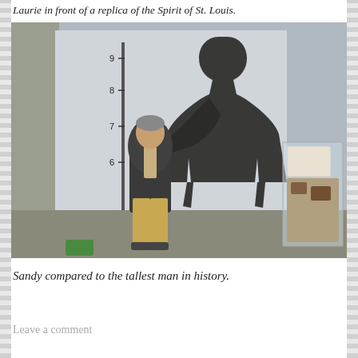Laurie in front of a replica of the Spirit of St. Louis.
[Figure (photo): A man standing next to a large dark silhouette cutout of the tallest man in history inside a museum. A height scale on the wall shows numbers 6, 7, 8, 9 feet. A display case with artifacts is visible on the right.]
Sandy compared to the tallest man in history.
Leave a comment